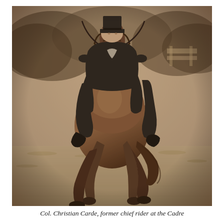[Figure (photo): A sepia-toned black and white photograph of a horse and rider performing dressage on a grass field. The rider, in formal equestrian attire (black coat, white breeches, top hat), is seated on a dark bay horse cantering directly toward the camera. The horse's legs are extended in movement, showing dynamic motion. Trees and what appears to be a fence or structure are visible in the blurred background.]
Col. Christian Carde, former chief rider at the Cadre